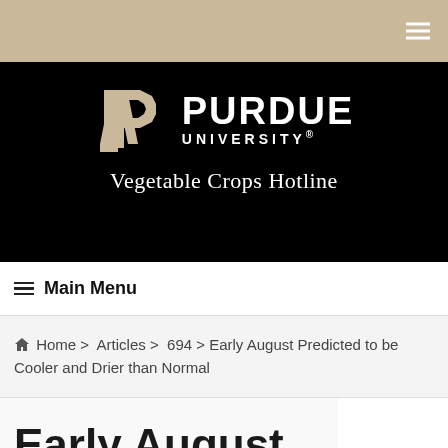[Figure (logo): Purdue University logo with block P and text 'PURDUE UNIVERSITY' and 'Vegetable Crops Hotline' on black background]
Main Menu
Home > Articles > 694 > Early August Predicted to be Cooler and Drier than Normal
Early August Predicted to